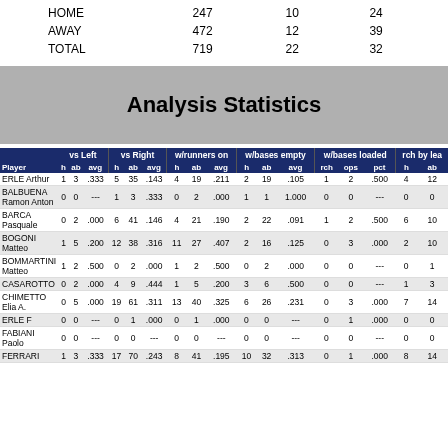|  |  |  |  |
| --- | --- | --- | --- |
| HOME | 247 | 10 | 24 |
| AWAY | 472 | 12 | 39 |
| TOTAL | 719 | 22 | 32 |
Analysis Statistics
| Player | h | ab | avg | h | ab | avg | h | ab | avg | h | ab | avg | rch | ops | pct | h | ab |
| --- | --- | --- | --- | --- | --- | --- | --- | --- | --- | --- | --- | --- | --- | --- | --- | --- | --- |
| ERLE Arthur | 1 | 3 | .333 | 5 | 35 | .143 | 4 | 19 | .211 | 2 | 19 | .105 | 1 | 2 | .500 | 4 | 12 |
| BALBUENA Ramon Anton | 0 | 0 | --- | 1 | 3 | .333 | 0 | 2 | .000 | 1 | 1 | 1.000 | 0 | 0 | --- | 0 | 0 |
| BARCA Pasquale | 0 | 2 | .000 | 6 | 41 | .146 | 4 | 21 | .190 | 2 | 22 | .091 | 1 | 2 | .500 | 6 | 10 |
| BOGONI Matteo | 1 | 5 | .200 | 12 | 38 | .316 | 11 | 27 | .407 | 2 | 16 | .125 | 0 | 3 | .000 | 2 | 10 |
| BOMMARTINI Matteo | 1 | 2 | .500 | 0 | 2 | .000 | 1 | 2 | .500 | 0 | 2 | .000 | 0 | 0 | --- | 0 | 1 |
| CASAROTTO | 0 | 2 | .000 | 4 | 9 | .444 | 1 | 5 | .200 | 3 | 6 | .500 | 0 | 0 | --- | 1 | 3 |
| CHIMETTO Elia A. | 0 | 5 | .000 | 19 | 61 | .311 | 13 | 40 | .325 | 6 | 26 | .231 | 0 | 3 | .000 | 7 | 14 |
| ERLE F | 0 | 0 | --- | 0 | 1 | .000 | 0 | 1 | .000 | 0 | 0 | --- | 0 | 1 | .000 | 0 | 0 |
| FABIANI Paolo | 0 | 0 | --- | 0 | 0 | --- | 0 | 0 | --- | 0 | 0 | --- | 0 | 0 | --- | 0 | 0 |
| FERRARI | 1 | 3 | .333 | 17 | 70 | .243 | 8 | 41 | .195 | 10 | 32 | .313 | 0 | 1 | .000 | 8 | 14 |